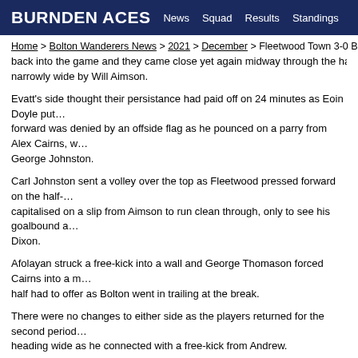BURNDEN ACES | News | Squad | Results | Standings
Home > Bolton Wanderers News > 2021 > December > Fleetwood Town 3-0 Bolton...
back into the game and they came close yet again midway through the half as Dec... narrowly wide by Will Aimson.
Evatt's side thought their persistance had paid off on 24 minutes as Eoin Doyle put... forward was denied by an offside flag as he pounced on a parry from Alex Cairns, w... George Johnston.
Carl Johnston sent a volley over the top as Fleetwood pressed forward on the half-... capitalised on a slip from Aimson to run clean through, only to see his goalbound a... Dixon.
Afolayan struck a free-kick into a wall and George Thomason forced Cairns into a m... half had to offer as Bolton went in trailing at the break.
There were no changes to either side as the players returned for the second period... heading wide as he connected with a free-kick from Andrew.
Thomason stole the ball from Jay Matete shortly before the hour and fed Afolayan.... squared for Doyle whose first-time attempt was straight into the gloves of Cairns.
Garner should have put the game beyond doubt three minutes later as he went cle...